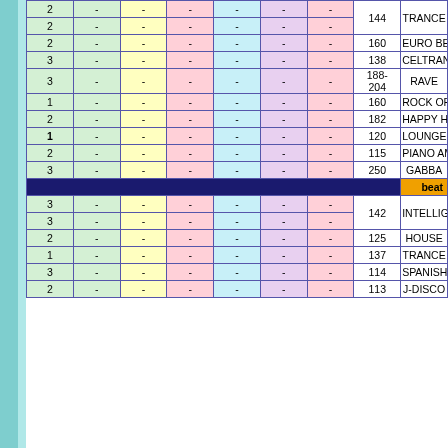| # | col1 | col2 | col3 | col4 | col5 | col6 | BPM | Genre |
| --- | --- | --- | --- | --- | --- | --- | --- | --- |
| 2 | - | - | - | - | - | - | 144 | TRANCE |
| 2 | - | - | - | - | - | - | 144 | TRANCE |
| 2 | - | - | - | - | - | - | 160 | EURO BEAT |
| 3 | - | - | - | - | - | - | 138 | CELTRANCE |
| 3 | - | - | - | - | - | - | 188-204 | RAVE |
| 1 | - | - | - | - | - | - | 160 | ROCK OPERA |
| 2 | - | - | - | - | - | - | 182 | HAPPY HARDCORE |
| 1 | - | - | - | - | - | - | 120 | LOUNGE HOUSE |
| 2 | - | - | - | - | - | - | 115 | PIANO AMBIENT |
| 3 | - | - | - | - | - | - | 250 | GABBA |
| [beat banner] |  |  |  |  |  |  |  | beat |
| 3 | - | - | - | - | - | - | 142 | INTELLIGENCE |
| 3 | - | - | - | - | - | - | 142 | INTELLIGENCE |
| 2 | - | - | - | - | - | - | 125 | HOUSE |
| 1 | - | - | - | - | - | - | 137 | TRANCE |
| 3 | - | - | - | - | - | - | 114 | SPANISH WALTZ |
| 2 | - | - | - | - | - | - | 113 | J-DISCO |